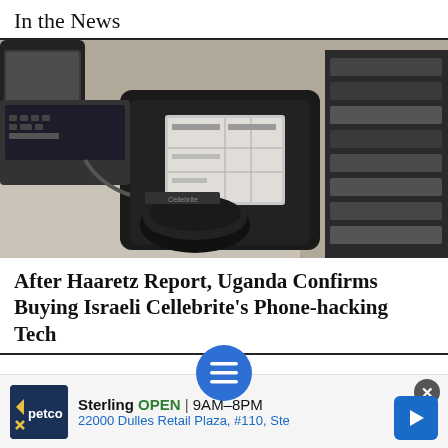In the News
[Figure (photo): Close-up photo of surveillance/forensic electronic equipment including a Cellebrite UFED device with a screen, alongside smartphones and hardware modules on a desk]
After Haaretz Report, Uganda Confirms Buying Israeli Cellebrite's Phone-hacking Tech
[Figure (infographic): Social sharing toolbar with Twitter, Facebook, hamburger menu (blue circle), bookmark, and email icons]
[Figure (infographic): Advertisement banner: Petco Sterling OPEN 9AM-8PM 22000 Dulles Retail Plaza, #110, Ste with close button and navigation arrow]